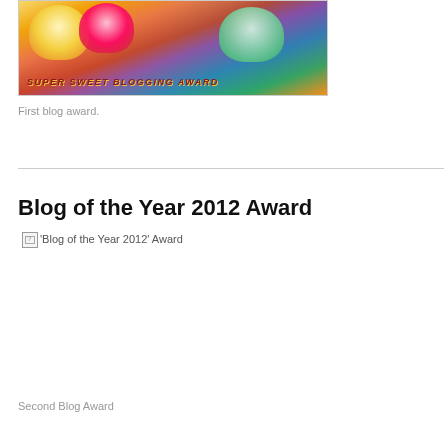[Figure (photo): Colorful cupcakes with rainbow frosting. Text overlay reads 'SUPER SWEET BLOGGING AWARD']
First blog award.
Blog of the Year 2012 Award
[Figure (other): Broken image placeholder with alt text: 'Blog of the Year 2012' Award]
Second Blog Award